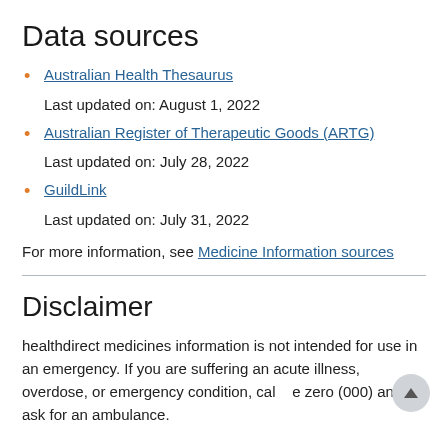Data sources
Australian Health Thesaurus
Last updated on: August 1, 2022
Australian Register of Therapeutic Goods (ARTG)
Last updated on: July 28, 2022
GuildLink
Last updated on: July 31, 2022
For more information, see Medicine Information sources
Disclaimer
healthdirect medicines information is not intended for use in an emergency. If you are suffering an acute illness, overdose, or emergency condition, call triple zero (000) and ask for an ambulance.